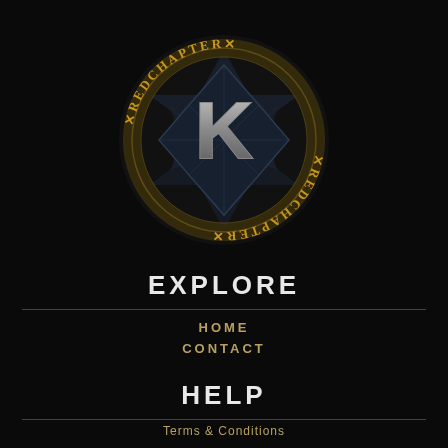[Figure (logo): Red Chapter K logo — circular badge with gold gothic text 'REDCHAPTER' arranged in a ring (top reads forward, bottom reads inverted/upside-down), surrounding a dark multi-pointed star/geometric shape with a large metallic silver letter K in the center]
EXPLORE
HOME
CONTACT
HELP
Terms & Conditions